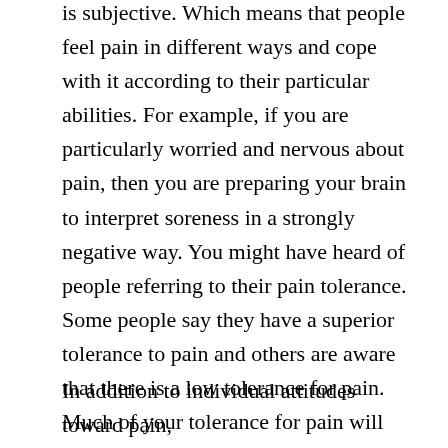is subjective. Which means that people feel pain in different ways and cope with it according to their particular abilities. For example, if you are particularly worried and nervous about pain, then you are preparing your brain to interpret soreness in a strongly negative way. You might have heard of people referring to their pain tolerance. Some people say they have a superior tolerance to pain and others are aware that there is a low tolerance for pain. Much of your tolerance for pain will derive of your mental preparation for the experience and your acceptance that getting the tattoo will distressed.
In addition to individual attitudes toward pain,